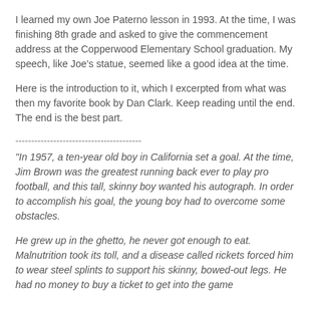I learned my own Joe Paterno lesson in 1993. At the time, I was finishing 8th grade and asked to give the commencement address at the Copperwood Elementary School graduation. My speech, like Joe's statue, seemed like a good idea at the time.
Here is the introduction to it, which I excerpted from what was then my favorite book by Dan Clark. Keep reading until the end. The end is the best part.
----------------------------------------
"In 1957, a ten-year old boy in California set a goal. At the time, Jim Brown was the greatest running back ever to play pro football, and this tall, skinny boy wanted his autograph. In order to accomplish his goal, the young boy had to overcome some obstacles.
He grew up in the ghetto, he never got enough to eat. Malnutrition took its toll, and a disease called rickets forced him to wear steel splints to support his skinny, bowed-out legs. He had no money to buy a ticket to get into the game